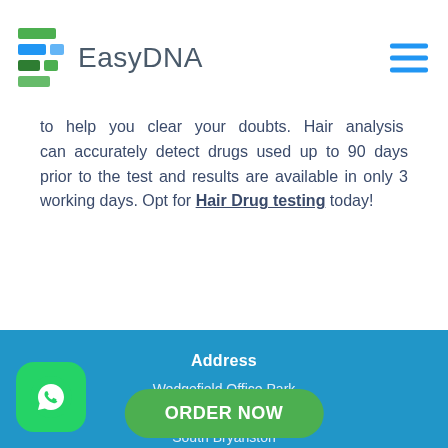[Figure (logo): EasyDNA logo with colored horizontal bars and company name]
to help you clear your doubts. Hair analysis can accurately detect drugs used up to 90 days prior to the test and results are available in only 3 working days. Opt for Hair Drug testing today!
Address
Wedgefield Office Park
Block A, 17 Muswell Road
South Bryanston
Johannesburg
South Africa
Contacts